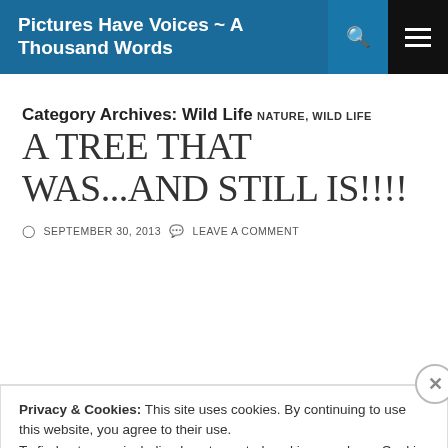Pictures Have Voices ~ A Thousand Words
Category Archives: Wild Life
NATURE, WILD LIFE
A TREE THAT WAS...AND STILL IS!!!!
SEPTEMBER 30, 2013  LEAVE A COMMENT
Privacy & Cookies: This site uses cookies. By continuing to use this website, you agree to their use. To find out more, including how to control cookies, see here: Cookie Policy
Close and accept